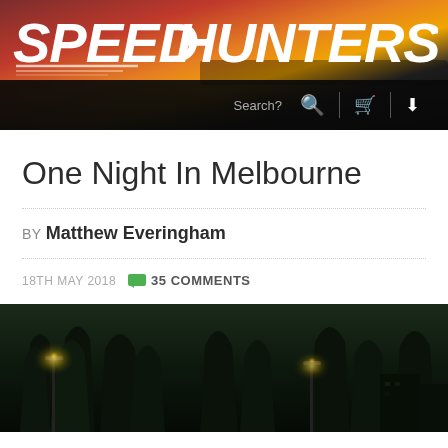[Figure (screenshot): Speedhunters website header with logo on sunset/dark gradient background with navigation bar showing Search, cart and dropdown icons]
One Night In Melbourne
BY Matthew Everingham
18TH MAY 2018  35 COMMENTS
[Figure (photo): Dark nighttime street scene with tree silhouettes and street lights glowing, Melbourne at night]